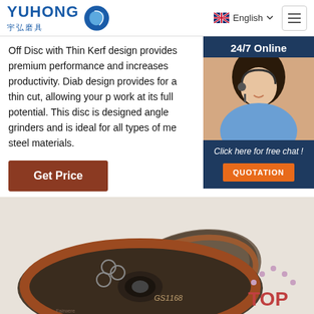YUHONG 宇弘磨具 — English
Off Disc with Thin Kerf design provides premium performance and increases productivity. Diab design provides for a thin cut, allowing your p work at its full potential. This disc is designed angle grinders and is ideal for all types of me steel materials.
[Figure (other): 24/7 Online chat widget with a customer service woman photo and QUOTATION button]
Get Price
[Figure (photo): Product photo showing cutting/grinding discs labeled GS1168, stacked, dark metallic color. TOP logo in bottom right corner.]